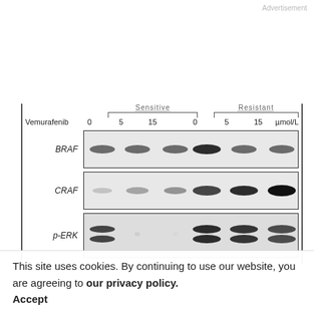Advertisement
[Figure (other): Western blot showing BRAF, CRAF, and p-ERK protein bands across Sensitive and Resistant cell lines treated with Vemurafenib at 0, 5, and 15 µmol/L doses.]
This site uses cookies. By continuing to use our website, you are agreeing to our privacy policy. Accept